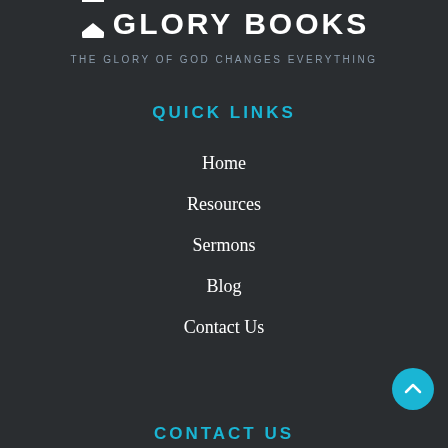[Figure (logo): Glory Books logo with bookmark icon and site name in white uppercase letters]
THE GLORY OF GOD CHANGES EVERYTHING
QUICK LINKS
Home
Resources
Sermons
Blog
Contact Us
CONTACT US